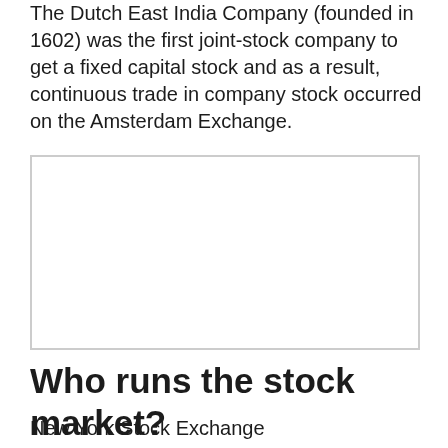The Dutch East India Company (founded in 1602) was the first joint-stock company to get a fixed capital stock and as a result, continuous trade in company stock occurred on the Amsterdam Exchange.
[Figure (other): Empty bordered box, likely placeholder for an image]
Who runs the stock market?
New York Stock Exchange